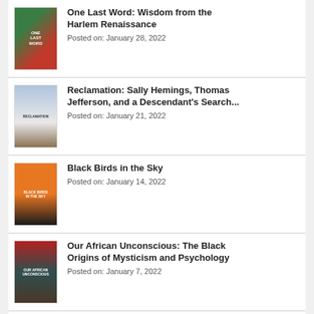[Figure (illustration): Book cover for One Last Word: Wisdom from the Harlem Renaissance]
One Last Word: Wisdom from the Harlem Renaissance
Posted on: January 28, 2022
[Figure (illustration): Book cover for Reclamation: Sally Hemings, Thomas Jefferson, and a Descendant's Search...]
Reclamation: Sally Hemings, Thomas Jefferson, and a Descendant's Search...
Posted on: January 21, 2022
[Figure (illustration): Book cover for Black Birds in the Sky]
Black Birds in the Sky
Posted on: January 14, 2022
[Figure (illustration): Book cover for Our African Unconscious: The Black Origins of Mysticism and Psychology]
Our African Unconscious: The Black Origins of Mysticism and Psychology
Posted on: January 7, 2022
[Figure (illustration): Book cover for The People Remember (partially visible)]
The People Remember